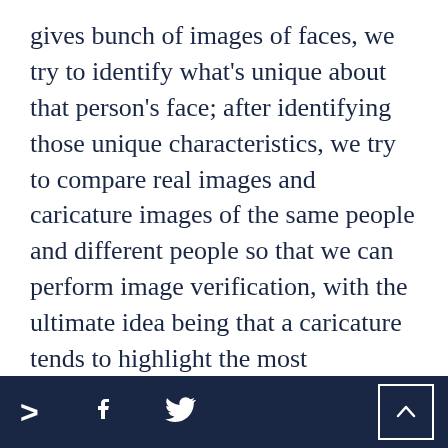gives bunch of images of faces, we try to identify what's unique about that person's face; after identifying those unique characteristics, we try to compare real images and caricature images of the same people and different people so that we can perform image verification, with the ultimate idea being that a caricature tends to highlight the most prominent features of person's face. For me, the goal would be to create an assistive technology to describe faces or facial expressions.
> f twitter back-to-top